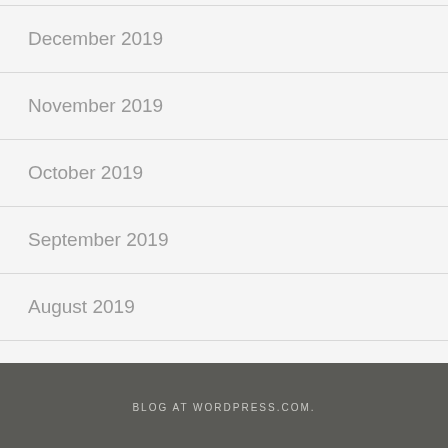December 2019
November 2019
October 2019
September 2019
August 2019
July 2019
BLOG AT WORDPRESS.COM.